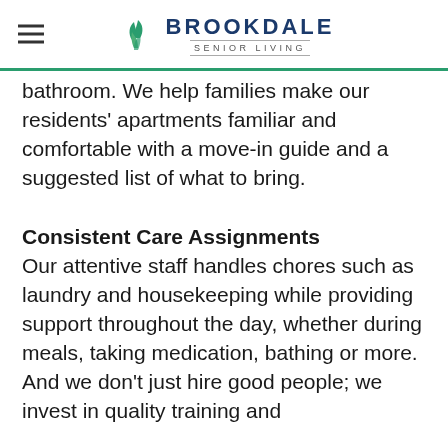Brookdale Senior Living
bathroom. We help families make our residents' apartments familiar and comfortable with a move-in guide and a suggested list of what to bring.
Consistent Care Assignments
Our attentive staff handles chores such as laundry and housekeeping while providing support throughout the day, whether during meals, taking medication, bathing or more. And we don't just hire good people; we invest in quality training and